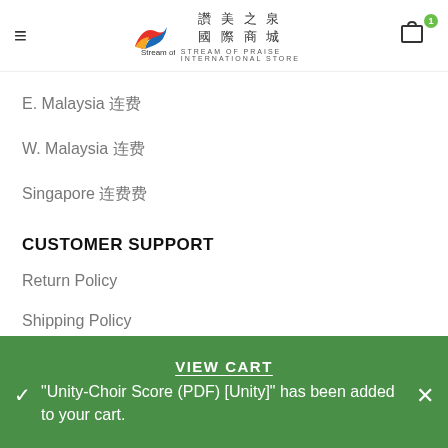Stream of Praise International Store - Navigation Header
E. Malaysia 运费
W. Malaysia 运费
Singapore 运费
CUSTOMER SUPPORT
Return Policy
Shipping Policy
Order Tracking
Contact Us
VIEW CART
"Unity-Choir Score (PDF) [Unity]" has been added to your cart.